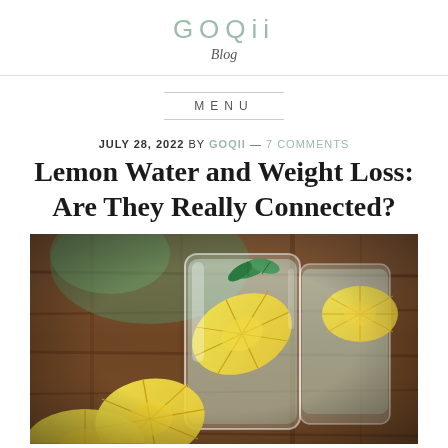GOQii Blog
MENU
JULY 28, 2022 BY GOQII — 7 COMMENTS
Lemon Water and Weight Loss: Are They Really Connected?
[Figure (photo): Two glasses of lemon water with lemon slices and mint on a wooden table background]